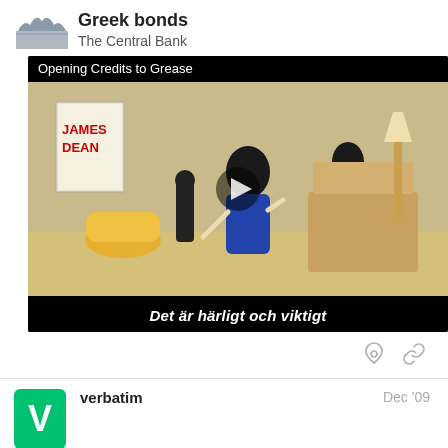Greek bonds
The Central Bank
[Figure (screenshot): Video thumbnail showing animated cartoon scene from 'Opening Credits to Grease' with subtitle 'Det är härligt och viktigt' and a play button overlay]
verbatim   Dec '09
Former BOE Official Buiter Says Greec...
10 / 67